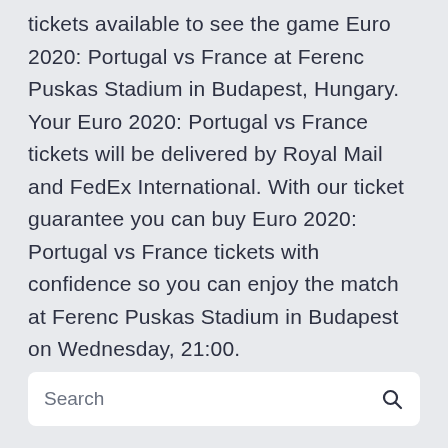tickets available to see the game Euro 2020: Portugal vs France at Ferenc Puskas Stadium in Budapest, Hungary. Your Euro 2020: Portugal vs France tickets will be delivered by Royal Mail and FedEx International. With our ticket guarantee you can buy Euro 2020: Portugal vs France tickets with confidence so you can enjoy the match at Ferenc Puskas Stadium in Budapest on Wednesday, 21:00.
Search